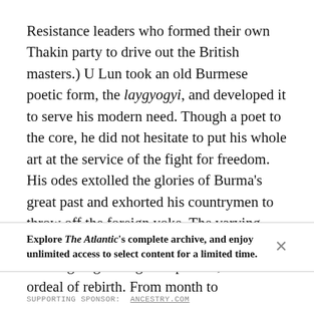Resistance leaders who formed their own Thakin party to drive out the British masters.) U Lun took an old Burmese poetic form, the laygyogyi, and developed it to serve his modern need. Though a poet to the core, he did not hesitate to put his whole art at the service of the fight for freedom. His odes extolled the glories of Burma's great past and exhorted his countrymen to throw off the foreign yoke. The varying moods of U Lun's poetry are those of a nation going through the painful, slow ordeal of rebirth. From month to
Explore The Atlantic's complete archive, and enjoy unlimited access to select content for a limited time.
SUPPORTING SPONSOR:  ANCESTRY.COM